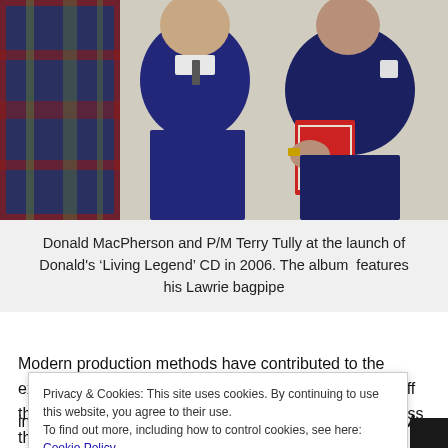[Figure (photo): Two men standing together posing for a photo. The man on the left wears a dark navy blue sweater over a collared shirt and tie. The man on the right wears a navy blue polo shirt with a logo and holds a book with a red cover. Background appears to be a wall with a tartan/plaid pattern on the left side.]
Donald MacPherson and P/M Terry Tully at the launch of Donald's ‘Living Legend’ CD in 2006. The album features his Lawrie bagpipe
Modern production methods have contributed to the excellence of the bagpipes now available to the fresh off the lathe customer. No longer are the bores anything less than
Privacy & Cookies: This site uses cookies. By continuing to use this website, you agree to their use. To find out more, including how to control cookies, see here: Cookie Policy
Close and accept
in many old sets. They can be a real trial to get going. My